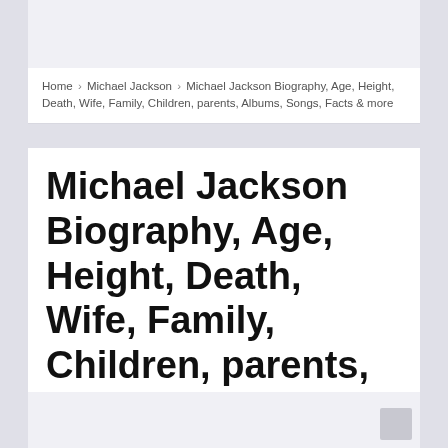Home › Michael Jackson › Michael Jackson Biography, Age, Height, Death, Wife, Family, Children, parents, Albums, Songs, Facts & more
Michael Jackson Biography, Age, Height, Death, Wife, Family, Children, parents, Albums, Songs, Facts & more
Raffz